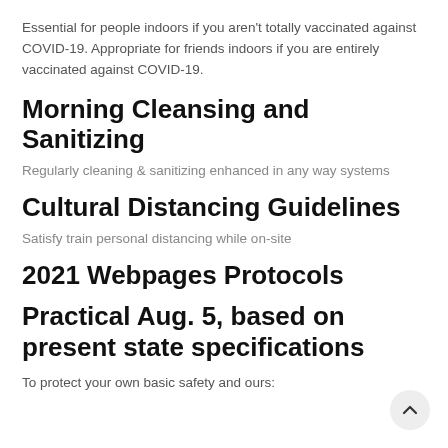Essential for people indoors if you aren't totally vaccinated against COVID-19. Appropriate for friends indoors if you are entirely vaccinated against COVID-19.
Morning Cleansing and Sanitizing
Regularly cleaning & sanitizing enhanced in any way systems
Cultural Distancing Guidelines
Satisfy train personal distancing while on-site
2021 Webpages Protocols
Practical Aug. 5, based on present state specifications
To protect your own basic safety and ours: